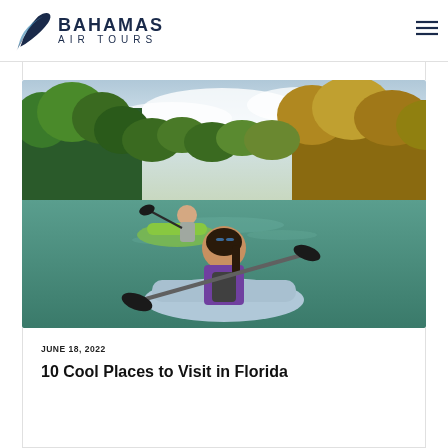BAHAMAS AIR TOURS
[Figure (photo): Two people kayaking through a tropical waterway surrounded by lush green and golden mangrove trees. In the foreground, a woman in a purple vest with a backpack paddles. In the background, a man in a grey shirt paddles a green kayak. The water is calm and teal-colored under a partly cloudy sky.]
JUNE 18, 2022
10 Cool Places to Visit in Florida